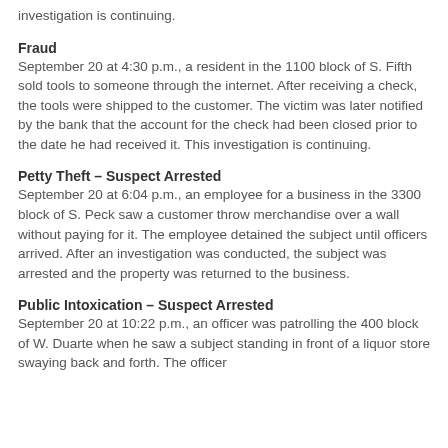investigation is continuing.
Fraud
September 20 at 4:30 p.m., a resident in the 1100 block of S. Fifth sold tools to someone through the internet. After receiving a check, the tools were shipped to the customer. The victim was later notified by the bank that the account for the check had been closed prior to the date he had received it. This investigation is continuing.
Petty Theft – Suspect Arrested
September 20 at 6:04 p.m., an employee for a business in the 3300 block of S. Peck saw a customer throw merchandise over a wall without paying for it. The employee detained the subject until officers arrived. After an investigation was conducted, the subject was arrested and the property was returned to the business.
Public Intoxication – Suspect Arrested
September 20 at 10:22 p.m., an officer was patrolling the 400 block of W. Duarte when he saw a subject standing in front of a liquor store swaying back and forth. The officer